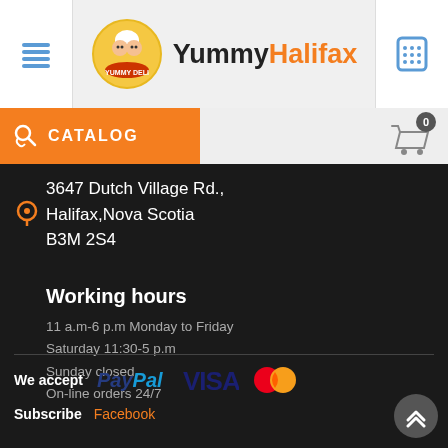YummyHalifax
CATALOG
3647 Dutch Village Rd., Halifax,Nova Scotia B3M 2S4
Working hours
11 a.m-6 p.m Monday to Friday
Saturday 11:30-5 p.m
Sunday closed
On-line orders 24/7
We accept PayPal VISA Mastercard
Subscribe Facebook